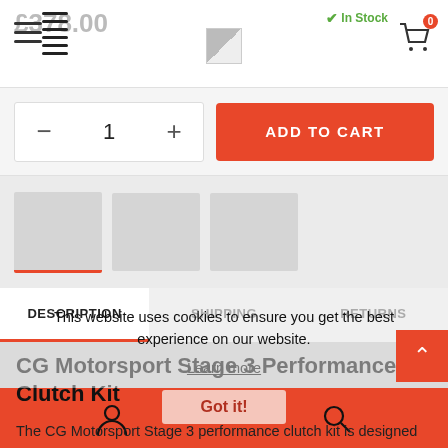£378.00  In Stock  [hamburger menu] [cart: 0]
- 1 + ADD TO CART
[Figure (screenshot): Product thumbnail image strip (three grey placeholder thumbnails)]
DESCRIPTION  SHIPPING  RETURNS
CG Motorsport Stage 3 Performance Clutch Kit
The CG Motorsport Stage 3 performance clutch kit is designed for tuned cars, perfect for unlocking the extra power of your vehicle.
This website uses cookies to ensure you get the best experience on our website.
Learn more
Got it!
[user icon]  [search icon]